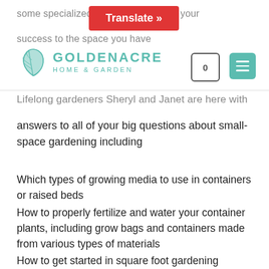some specialized te... maximize your success to the space you have
Lifelong gardeners Sheryl and Janet are here with answers to all of your big questions about small-space gardening including
Which types of growing media to use in containers or raised beds
How to properly fertilize and water your container plants, including grow bags and containers made from various types of materials
How to get started in square foot gardening
How to reap the rewards of succession planting and catch-cropping
How to build raised beds, wicking beds, and sub-irrigation planters
Which veggies and vines to grow vertically, what herbs